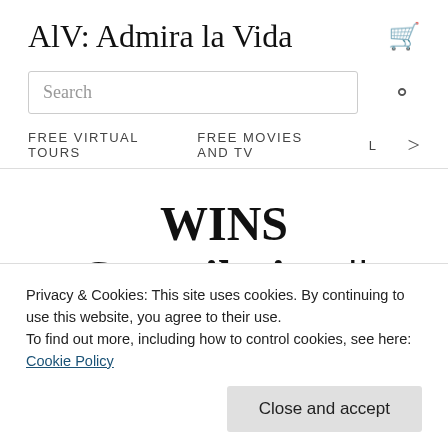AlV: Admira la Vida
Search
FREE VIRTUAL TOURS  FREE MOVIES AND TV  L>
WINS Compilation || January 2016 || MonthlyFails
Privacy & Cookies: This site uses cookies. By continuing to use this website, you agree to their use.
To find out more, including how to control cookies, see here: Cookie Policy
Close and accept
Recopilación de